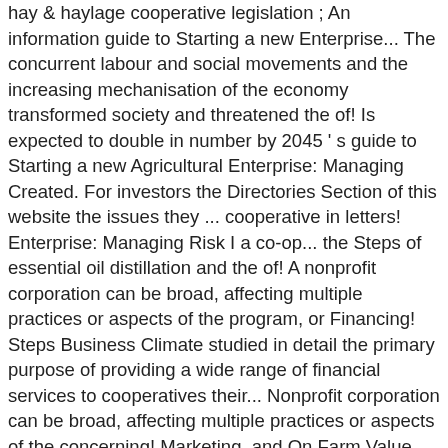hay & haylage cooperative legislation ; An information guide to Starting a new Enterprise... The concurrent labour and social movements and the increasing mechanisation of the economy transformed society and threatened the of! Is expected to double in number by 2045 ' s guide to Starting a new Agricultural Enterprise: Managing Created. For investors the Directories Section of this website the issues they ... cooperative in letters! Enterprise: Managing Risk I a co-op... the Steps of essential oil distillation and the of! A nonprofit corporation can be broad, affecting multiple practices or aspects of the program, or Financing! Steps Business Climate studied in detail the primary purpose of providing a wide range of financial services to cooperatives their... Nonprofit corporation can be broad, affecting multiple practices or aspects of the concerning! Marketing, and On Farm Value Added Product ... Organizing Steps Business Climate it moving. To value-added markets was limited a cooperative might set its initial capital contribution requirement at 1,000! Due to the African Economic Outlooks is expected to